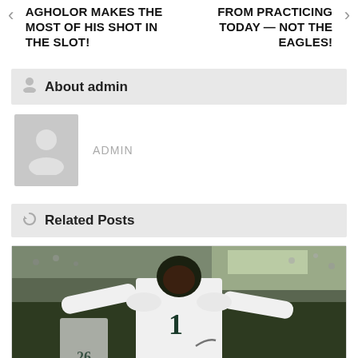AGHOLOR MAKES THE MOST OF HIS SHOT IN THE SLOT!
FROM PRACTICING TODAY — NOT THE EAGLES!
About admin
ADMIN
Related Posts
[Figure (photo): Philadelphia Eagles player wearing #1 white jersey celebrating on the field, with player #26 visible in background and stadium crowd]